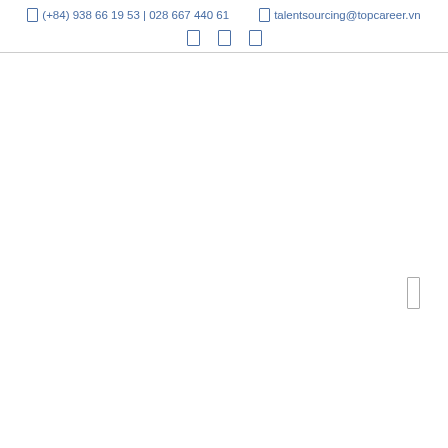☎ (+84) 938 66 19 53 | 028 667 440 61   ✉ talentsourcing@topcareer.vn
[Figure (other): Three social media icon placeholders (small rectangles) in a row]
[Figure (other): A small rectangular icon on the right side of the page body]